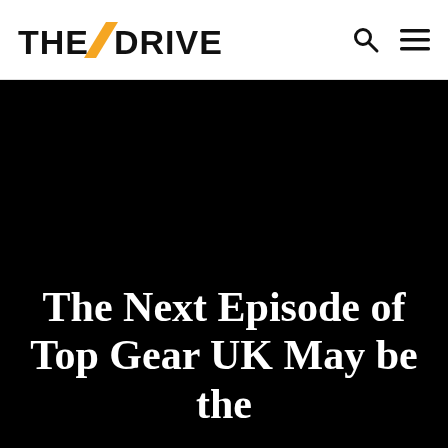[Figure (logo): The Drive logo: bold black sans-serif text 'THE' followed by an orange diagonal slash and bold black text 'DRIVE']
[Figure (photo): Large black image area serving as hero background for an article about Top Gear UK]
The Next Episode of Top Gear UK May be the